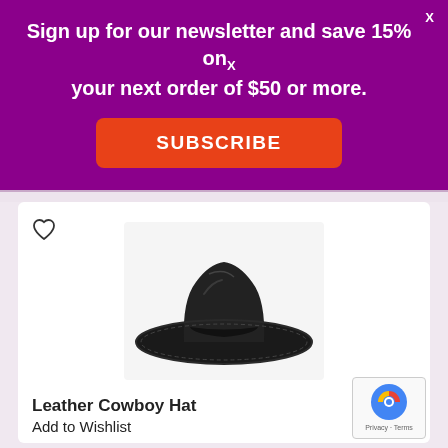Sign up for our newsletter and save 15% on your next order of $50 or more.
SUBSCRIBE
[Figure (photo): Black leather cowboy hat product photo on white background]
Leather Cowboy Hat
Add to Wishlist